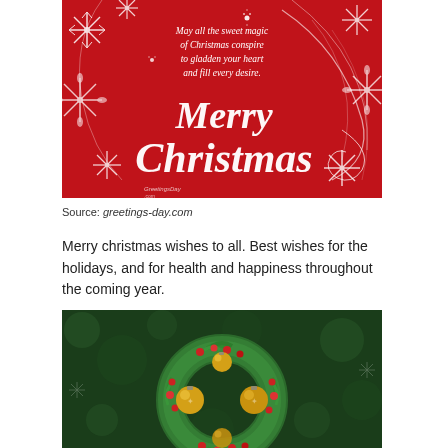[Figure (illustration): Red Christmas greeting card with white decorative snowflakes and swirls. Text reads: 'May all the sweet magic of Christmas conspire to gladden your heart and fill every desire.' with large script text 'Merry Christmas' in the center. GreetingsDay.com watermark at bottom left.]
Source: greetings-day.com
Merry christmas wishes to all. Best wishes for the holidays, and for health and happiness throughout the coming year.
[Figure (illustration): Christmas wreath with green pine branches, red berries, and gold ornament balls, on a dark green bokeh background with subtle snowflakes.]